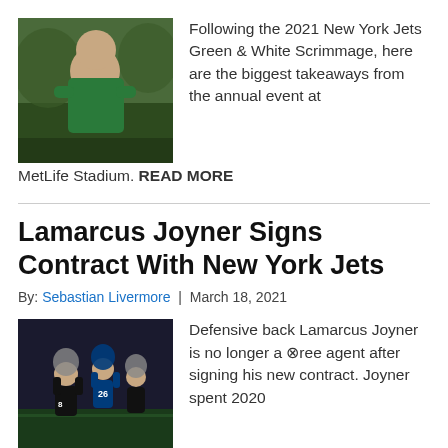[Figure (photo): A man in a green shirt standing with arms crossed, outdoors at what appears to be a football event.]
Following the 2021 New York Jets Green & White Scrimmage, here are the biggest takeaways from the annual event at MetLife Stadium. READ MORE
Lamarcus Joyner Signs Contract With New York Jets
By: Sebastian Livermore | March 18, 2021
[Figure (photo): Football players in action during a game, including Raiders and Colts players.]
Defensive back Lamarcus Joyner is no longer a free agent after signing his new contract. Joyner spent 2020